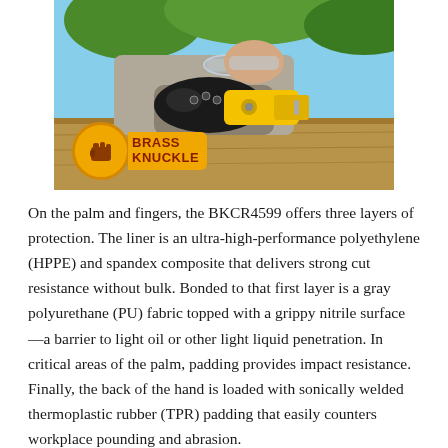[Figure (photo): A man wearing safety glasses and black gloves operates a yellow power tool (appears to be a drill or driver) on wood. He is leaning close to the work surface. In the lower left of the image is a circular badge with an orange/gold background featuring a fist icon (Brass Knuckle logo) and the text 'BRASS KNUCKLE' in dark red/maroon bold letters.]
On the palm and fingers, the BKCR4599 offers three layers of protection. The liner is an ultra-high-performance polyethylene (HPPE) and spandex composite that delivers strong cut resistance without bulk. Bonded to that first layer is a gray polyurethane (PU) fabric topped with a grippy nitrile surface—a barrier to light oil or other light liquid penetration. In critical areas of the palm, padding provides impact resistance. Finally, the back of the hand is loaded with sonically welded thermoplastic rubber (TPR) padding that easily counters workplace pounding and abrasion.